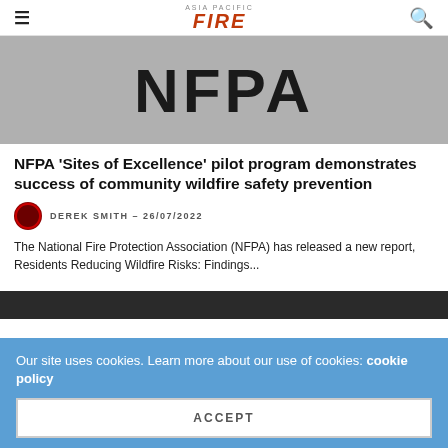ASIA PACIFIC FIRE
[Figure (photo): NFPA logo in large black text on a grey background]
NFPA 'Sites of Excellence' pilot program demonstrates success of community wildfire safety prevention
DEREK SMITH – 26/07/2022
The National Fire Protection Association (NFPA) has released a new report, Residents Reducing Wildfire Risks: Findings...
[Figure (photo): Dark background strip — partial second article image]
Our site uses cookies. Learn more about our use of cookies: cookie policy
ACCEPT